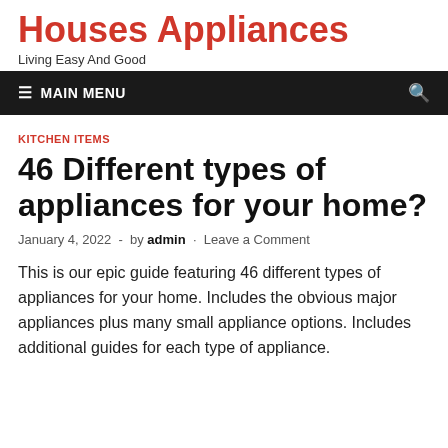Houses Appliances
Living Easy And Good
≡ MAIN MENU
KITCHEN ITEMS
46 Different types of appliances for your home?
January 4, 2022  -  by admin  ·  Leave a Comment
This is our epic guide featuring 46 different types of appliances for your home. Includes the obvious major appliances plus many small appliance options. Includes additional guides for each type of appliance.